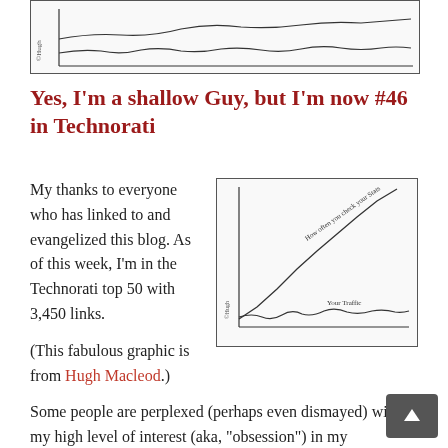[Figure (continuous-plot): Hand-drawn sketch showing a nearly flat line labeled 'Your Traffic' at the bottom and a steeply rising line labeled 'How often you check your Stats'. Copyright mark '©Hugh' on the left side.]
Yes, I'm a shallow Guy, but I'm now #46 in Technorati
[Figure (continuous-plot): Hand-drawn cartoon graph with two lines: one steeply rising labeled 'How often you check your Stats' and one nearly flat labeled 'Your Traffic'. Copyright '©Hugh' at bottom left.]
My thanks to everyone who has linked to and evangelized this blog. As of this week, I'm in the Technorati top 50 with 3,450 links.
(This fabulous graphic is from Hugh Macleod.)
Some people are perplexed (perhaps even dismayed) with my high level of interest (aka, "obsession") in my Technorati ranking. I